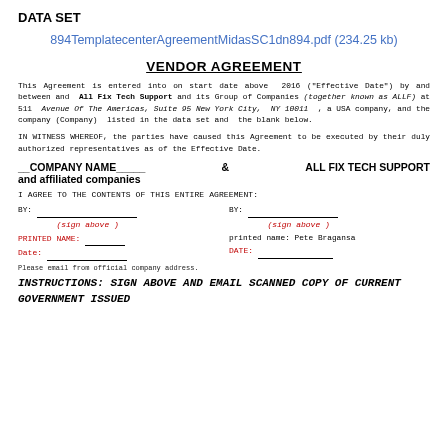DATA SET
894TemplatecenterAgreementMidasSC1dn894.pdf (234.25 kb)
VENDOR AGREEMENT
This Agreement is entered into on start date above 2016 ("Effective Date") by and between and All Fix Tech Support and its Group of Companies (together known as ALLF) at 511 Avenue Of The Americas, Suite 95 New York City, NY 10011, a USA company, and the company (Company) listed in the data set and the blank below.
IN WITNESS WHEREOF, the parties have caused this Agreement to be executed by their duly authorized representatives as of the Effective Date.
__COMPANY NAME_____ & ALL FIX TECH SUPPORT and affiliated companies
I AGREE TO THE CONTENTS OF THIS ENTIRE AGREEMENT:
BY: _____________________ BY: _________________
(sign above) (sign above)
PRINTED NAME: _____ printed name: Pete Bragansa
Date: _________________ DATE: _____________
Please email from official company address.
INSTRUCTIONS: SIGN ABOVE AND EMAIL SCANNED COPY OF CURRENT GOVERNMENT ISSUED